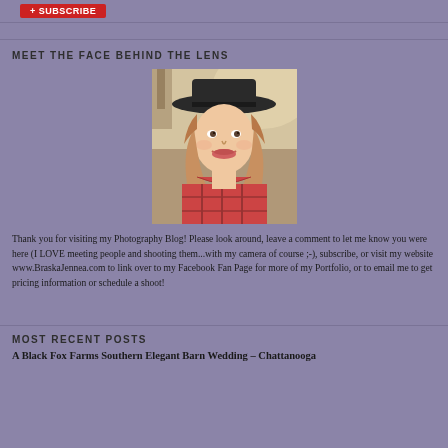[Figure (logo): Red subscribe button at top left]
MEET THE FACE BEHIND THE LENS
[Figure (photo): Portrait photo of a young woman wearing a wide-brimmed black hat and red plaid scarf/jacket, smiling, with a soft outdoor background]
Thank you for visiting my Photography Blog! Please look around, leave a comment to let me know you were here (I LOVE meeting people and shooting them...with my camera of course ;-), subscribe, or visit my website www.BraskaJennea.com to link over to my Facebook Fan Page for more of my Portfolio, or to email me to get pricing information or schedule a shoot!
MOST RECENT POSTS
A Black Fox Farms Southern Elegant Barn Wedding – Chattanooga